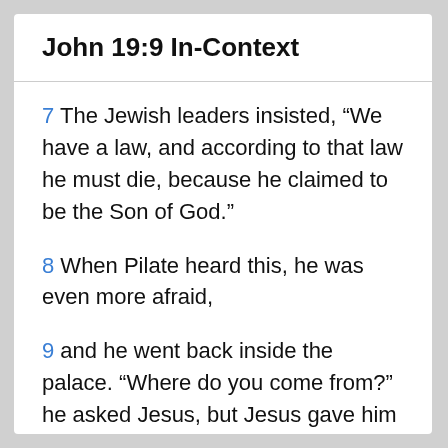John 19:9 In-Context
7 The Jewish leaders insisted, “We have a law, and according to that law he must die, because he claimed to be the Son of God.”
8 When Pilate heard this, he was even more afraid,
9 and he went back inside the palace. “Where do you come from?” he asked Jesus, but Jesus gave him no answer.
10 “Do you refuse to speak to me?”